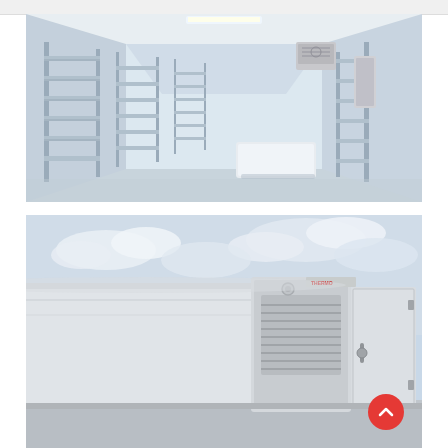[Figure (photo): Interior of a commercial cold storage room with metal shelving units along both sides, a refrigeration unit mounted on the wall, and a white container in the center of the room. White walls and floor with fluorescent lighting.]
[Figure (photo): Exterior view of a refrigerated trailer or portable cold storage unit with white panels, a ventilation/generator unit with louvers, and a door with handle. Cloudy sky in background.]